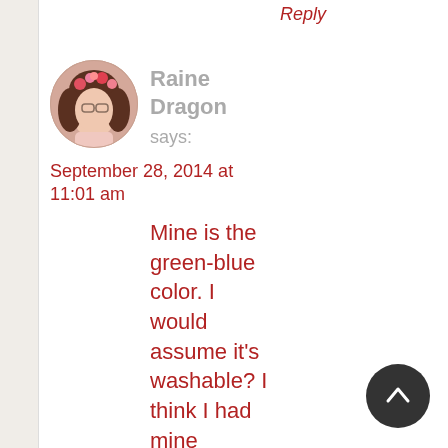Reply
[Figure (photo): Circular avatar photo of Raine Dragon, a woman with brown wavy hair wearing a floral headpiece]
Raine Dragon says:
September 28, 2014 at 11:01 am
Mine is the green-blue color. I would assume it's washable? I think I had mine drycleaned last time, but I know I wore it to a photoshoot